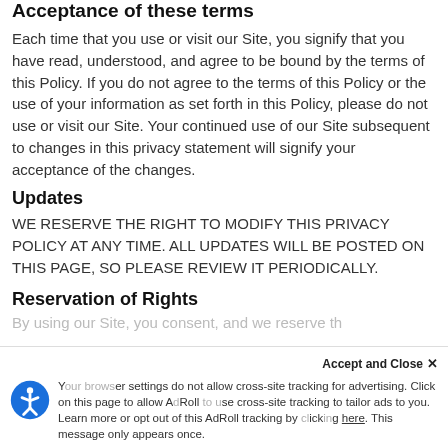Acceptance of these terms
Each time that you use or visit our Site, you signify that you have read, understood, and agree to be bound by the terms of this Policy. If you do not agree to the terms of this Policy or the use of your information as set forth in this Policy, please do not use or visit our Site. Your continued use of our Site subsequent to changes in this privacy statement will signify your acceptance of the changes.
Updates
WE RESERVE THE RIGHT TO MODIFY THIS PRIVACY POLICY AT ANY TIME. ALL UPDATES WILL BE POSTED ON THIS PAGE, SO PLEASE REVIEW IT PERIODICALLY.
Reservation of Rights
By using our Site, you consent, and we reserve the right...